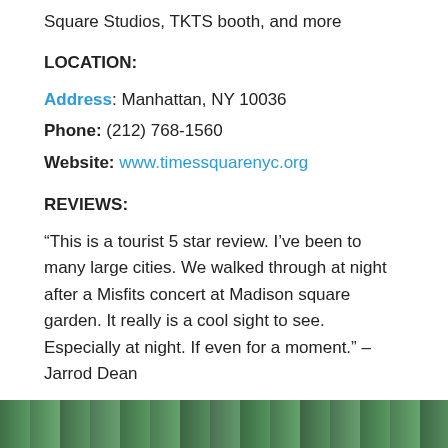Square Studios, TKTS booth, and more
LOCATION:
Address: Manhattan, NY 10036
Phone: (212) 768-1560
Website: www.timessquarenyc.org
REVIEWS:
“This is a tourist 5 star review. I’ve been to many large cities. We walked through at night after a Misfits concert at Madison square garden. It really is a cool sight to see. Especially at night. If even for a moment.” – Jarrod Dean
One World Trade Center
[Figure (photo): Partial view of photo strip at bottom of page showing green foliage/trees]